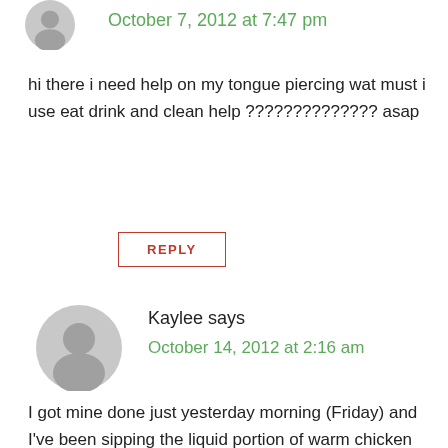[Figure (other): Gray avatar/profile icon silhouette (partial, top of page)]
October 7, 2012 at 7:47 pm
hi there i need help on my tongue piercing wat must i use eat drink and clean help ?????????????? asap
REPLY
[Figure (other): Gray avatar/profile icon silhouette for Kaylee]
Kaylee says
October 14, 2012 at 2:16 am
I got mine done just yesterday morning (Friday) and I've been sipping the liquid portion of warm chicken noodle soup and eating popsicles slowly. My tongue is what my piercer said was a 'thin' tongue so he put a normal barbell in right after and it hasn't swollen to the point I can't talk or